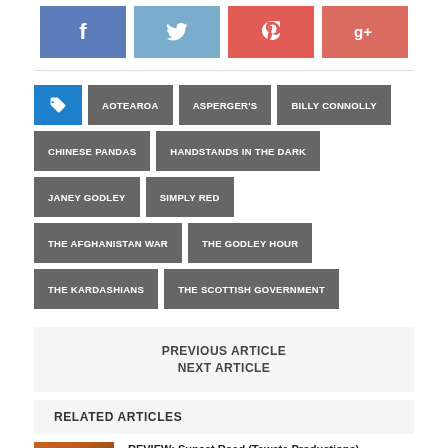[Figure (other): Social media share buttons: Facebook (blue), Twitter (light blue), Pinterest (red), Google+ (salmon red)]
AOTEAROA
ASPERGER'S
BILLY CONNOLLY
CHINESE PANDAS
HANDSTANDS IN THE DARK
JANEY GODLEY
SIMPLY RED
THE AFGHANISTAN WAR
THE GODLEY HOUR
THE KARDASHIANS
THE SCOTTISH GOVERNMENT
PREVIOUS ARTICLE
NEXT ARTICLE
RELATED ARTICLES
REVIEW: Sunset Road (Tawata Productions)